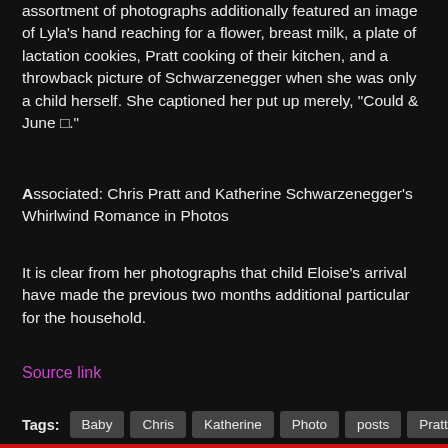assortment of photographs additionally featured an image of Lyla's hand reaching for a flower, breast milk, a plate of lactation cookies, Pratt cooking of their kitchen, and a throwback picture of Schwarzenegger when she was only a child herself. She captioned her put up merely, “Could & June □.”
Associated: Chris Pratt and Katherine Schwarzenegger’s Whirlwind Romance in Photos
It is clear from her photographs that child Eloise’s arrival have made the previous two months additional particular for the household.
Source link
Tags: Baby Chris Katherine Photo posts Pratt